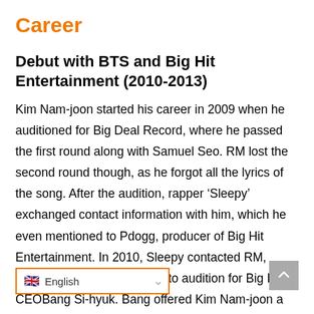Career
Debut with BTS and Big Hit Entertainment (2010-2013)
Kim Nam-joon started his career in 2009 when he auditioned for Big Deal Record, where he passed the first round along with Samuel Seo. RM lost the second round though, as he forgot all the lyrics of the song. After the audition, rapper ‘Sleepy’ exchanged contact information with him, which he even mentioned to Pdogg, producer of Big Hit Entertainment. In 2010, Sleepy contacted RM, pushing and motivating him to audition for Big Hit CEOBang Si-hyuk. Bang offered Kim Nam-joon a spot at the… immediately accepted the offer, ever… d with his parents. As soon as